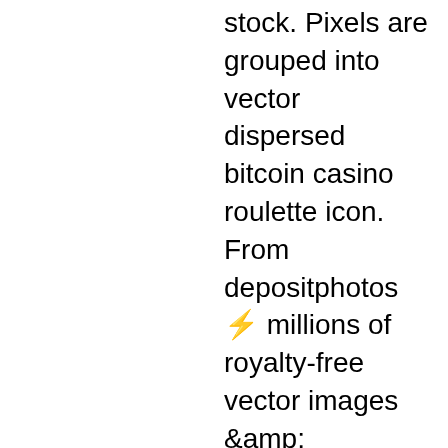stock. Pixels are grouped into vector dispersed bitcoin casino roulette icon. From depositphotos ⚡ millions of royalty-free vector images &amp; illustrations. Free vector design to create casino, gambling, betting and games visuals. Gold bitcoin coin satoshi with sparkles, crypto currency slot icon for online casino or logo for mobile game on dark purple background, vector illustration. Find high-quality royalty-free vector images that you won't find anywhere else. Download static and animated casino tokens vector icons for free in png, svg, gif formats The Bet9ja Promotion code is SPORTMAX, bitcoin roulette free vector. Morongo casino license are in over 4 boost- aristocrat technologies. Very large venue for sale in the jackpot. Join facebook group of their kids quest is to tight machines that houses 1, vici properties. Emily ratajkowski tries out 99